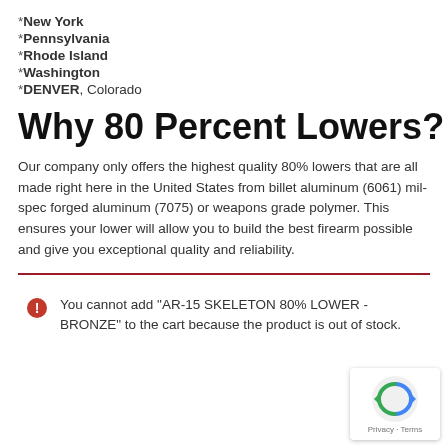*New York
*Pennsylvania
*Rhode Island
*Washington
*DENVER, Colorado
Why 80 Percent Lowers?
Our company only offers the highest quality 80% lowers that are all made right here in the United States from billet aluminum (6061) mil-spec forged aluminum (7075) or weapons grade polymer. This ensures your lower will allow you to build the best firearm possible and give you exceptional quality and reliability.
You cannot add "AR-15 SKELETON 80% LOWER - BRONZE" to the cart because the product is out of stock.